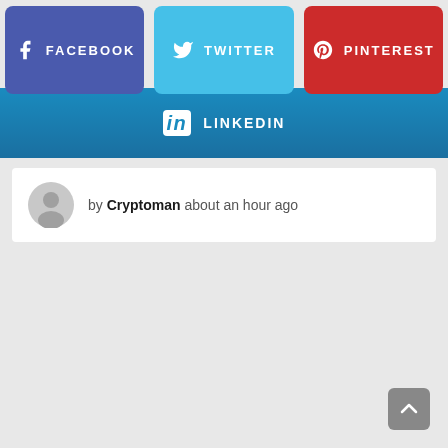[Figure (screenshot): Social share buttons row: Facebook (purple), Twitter (cyan), Pinterest (red)]
[Figure (screenshot): LinkedIn share button (blue gradient)]
by Cryptoman  about an hour ago
[Figure (other): Scroll-to-top arrow button in bottom right corner]